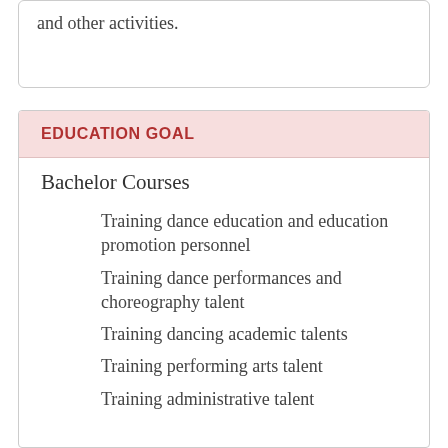and other activities.
EDUCATION GOAL
Bachelor Courses
Training dance education and education promotion personnel
Training dance performances and choreography talent
Training dancing academic talents
Training performing arts talent
Training administrative talent